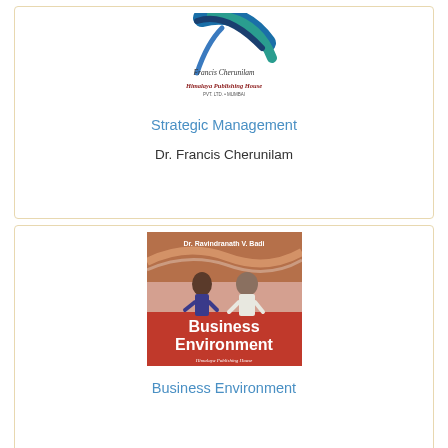[Figure (illustration): Book cover for Strategic Management by Francis Cherunilam, published by Himalaya Publishing House. Shows a stylized graphic with blue and teal arcs, author name, and publisher logo.]
Strategic Management
Dr. Francis Cherunilam
[Figure (illustration): Book cover for Business Environment by Dr. Ravindranath V. Badi. Shows two people (a woman and a man in business attire) with orange and red design, published by Himalaya Publishing House.]
Business Environment